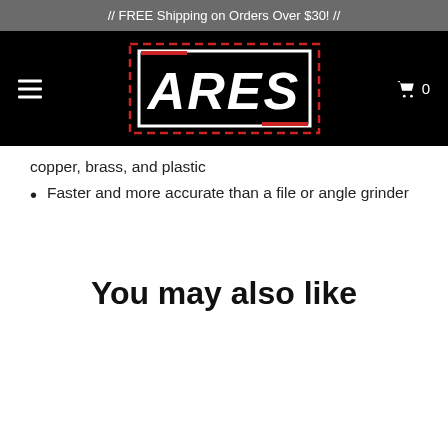// FREE Shipping on Orders Over $30! //
[Figure (logo): ARES brand logo — white bold italic text on black background with red dashed border rectangle]
copper, brass, and plastic
Faster and more accurate than a file or angle grinder
You may also like